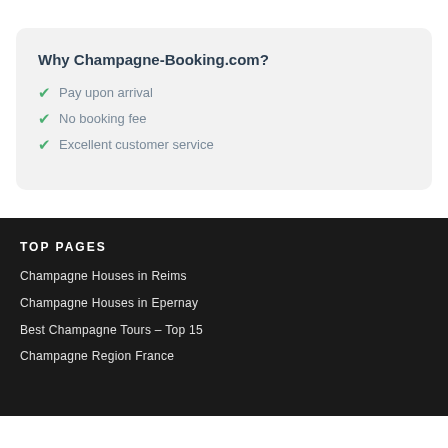Why Champagne-Booking.com?
Pay upon arrival
No booking fee
Excellent customer service
TOP PAGES
Champagne Houses in Reims
Champagne Houses in Epernay
Best Champagne Tours – Top 15
Champagne Region France